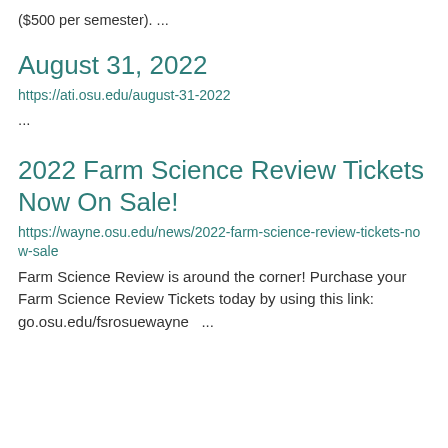($500 per semester). ...
August 31, 2022
https://ati.osu.edu/august-31-2022
...
2022 Farm Science Review Tickets Now On Sale!
https://wayne.osu.edu/news/2022-farm-science-review-tickets-now-sale
Farm Science Review is around the corner! Purchase your Farm Science Review Tickets today by using this link: go.osu.edu/fsrosuewayne   ...